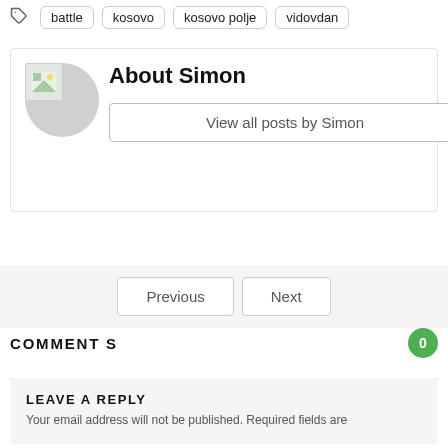battle  kosovo  kosovo polje  vidovdan
About Simon
View all posts by Simon
Previous   Next
COMMENTS
LEAVE A REPLY
Your email address will not be published. Required fields are